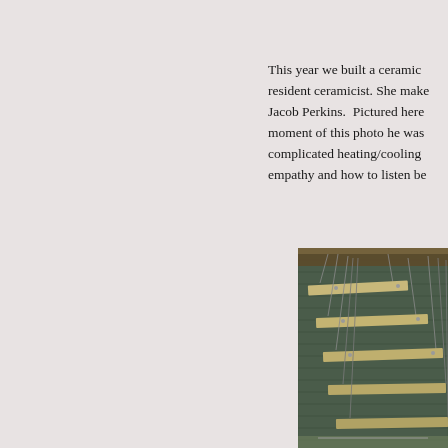This year we built a ceramic resident ceramicist. She make Jacob Perkins. Pictured here moment of this photo he was complicated heating/cooling empathy and how to listen be
[Figure (photo): Interior construction photo showing wooden planks or shelves suspended from a ceiling by metal wires/cables, with a dark brick or stone wall visible in the background.]